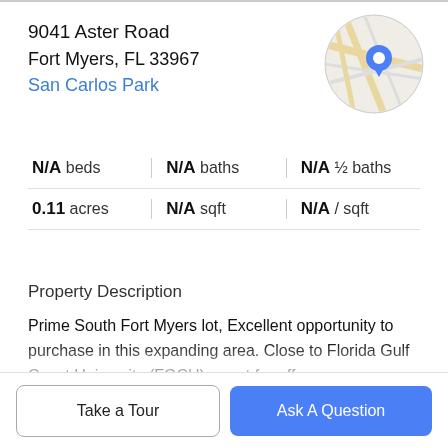9041 Aster Road
Fort Myers, FL 33967
San Carlos Park
[Figure (map): Circular map thumbnail with a blue location pin marker on a street map showing San Carlos Park area, Fort Myers, FL]
N/A beds | N/A baths | N/A ½ baths | 0.11 acres | N/A sqft | N/A / sqft
Property Description
Prime South Fort Myers lot, Excellent opportunity to purchase in this expanding area. Close to Florida Gulf Coast University (FGCU), great for off-campus housing. Quick access to i75, US41, and all the new shops in this booming area of South Fort Myers. Located in highly
Take a Tour
Ask A Question